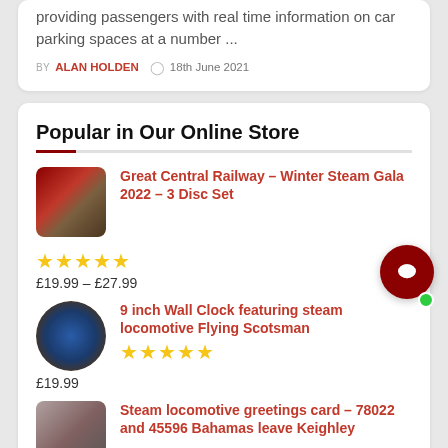providing passengers with real time information on car parking spaces at a number ...
BY ALAN HOLDEN  18th June 2021
Popular in Our Online Store
Great Central Railway – Winter Steam Gala 2022 – 3 Disc Set
★★★★★
£19.99 – £27.99
9 inch Wall Clock featuring steam locomotive Flying Scotsman
★★★★★
£19.99
Steam locomotive greetings card – 78022 and 45596 Bahamas leave Keighley